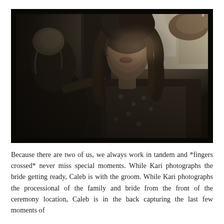[Figure (photo): A dark, moody photograph of two women. One woman with blonde hair in a bun, viewed from behind/side, is applying makeup (holding a makeup brush) to the lips of another woman with long curly brown hair who is facing forward toward a bright window. A third person's hands are visible at the right edge working on the curly-haired woman's hair. The curly-haired woman is wearing a floral robe.]
Because there are two of us, we always work in tandem and *fingers crossed* never miss special moments. While Kari photographs the bride getting ready, Caleb is with the groom. While Kari photographs the processional of the family and bride from the front of the ceremony location, Caleb is in the back capturing the last few moments of